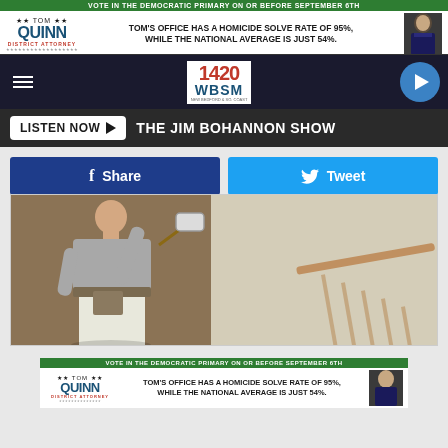[Figure (screenshot): Tom Quinn District Attorney campaign advertisement banner - green bar reads VOTE IN THE DEMOCRATIC PRIMARY ON OR BEFORE SEPTEMBER 6TH, logo and text TOM'S OFFICE HAS A HOMICIDE SOLVE RATE OF 95%, WHILE THE NATIONAL AVERAGE IS JUST 54%.]
[Figure (screenshot): 1420 WBSM radio station navigation bar with hamburger menu, station logo, and play button]
[Figure (screenshot): Listen Now button with THE JIM BOHANNON SHOW label]
[Figure (screenshot): Facebook Share and Twitter Tweet buttons]
[Figure (photo): Man with back to camera painting a wall with a roller brush, wearing grey t-shirt and white pants, standing near a staircase railing]
[Figure (screenshot): Tom Quinn District Attorney campaign advertisement banner at bottom - identical to top banner]